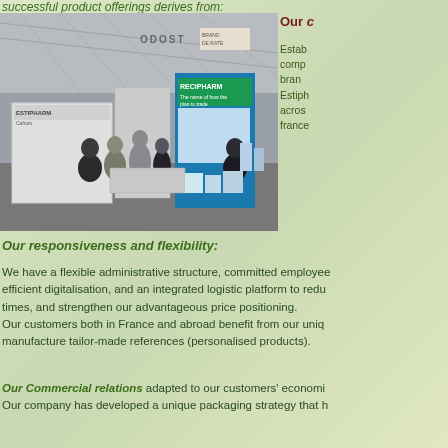successful product offerings derives from:
[Figure (photo): Trade show exhibition photo showing people at booths including Estipharm and other pharmaceutical/cosmetic product displays in a large convention hall]
Our c
Estab comp bran Estiph acros franc
Our responsiveness and flexibility:
We have a flexible administrative structure, committed employees, efficient digitalisation, and an integrated logistic platform to reduce times, and strengthen our advantageous price positioning. Our customers both in France and abroad benefit from our unique manufacture tailor-made references (personalised products).
Our Commercial relations adapted to our customers' economic conditions. Our company has developed a unique packaging strategy that h...